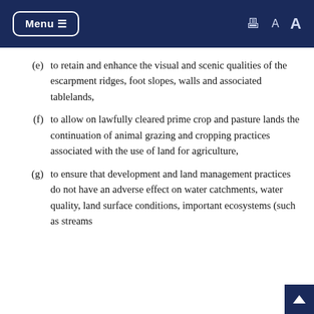Menu  [print] A A
(e)  to retain and enhance the visual and scenic qualities of the escarpment ridges, foot slopes, walls and associated tablelands,
(f)  to allow on lawfully cleared prime crop and pasture lands the continuation of animal grazing and cropping practices associated with the use of land for agriculture,
(g)  to ensure that development and land management practices do not have an adverse effect on water catchments, water quality, land surface conditions, important ecosystems (such as streams